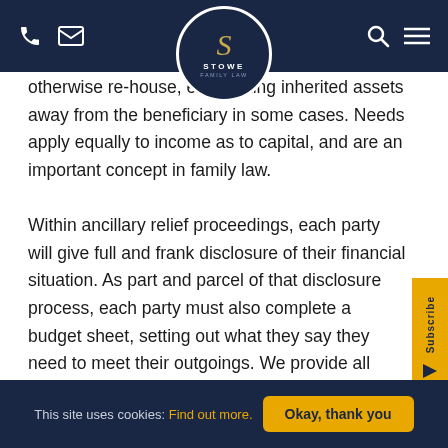Stowe Family Law — Navigation bar with phone, email, logo, search, and menu icons
otherwise re-house, even taking inherited assets away from the beneficiary in some cases. Needs apply equally to income as to capital, and are an important concept in family law.
Within ancillary relief proceedings, each party will give full and frank disclosure of their financial situation. As part and parcel of that disclosure process, each party must also complete a budget sheet, setting out what they say they need to meet their outgoings. We provide all Stowe Family Law clients with a budget sheet at the outset of the
This site uses cookies: Find out more. Okay, thank you